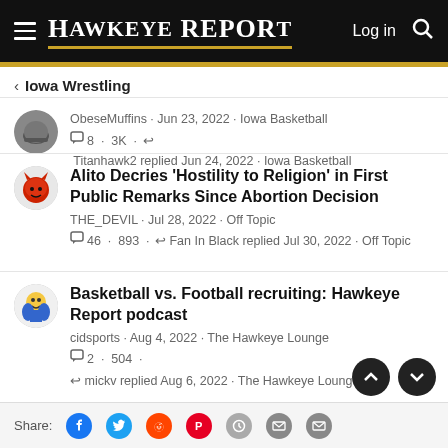Hawkeye Report – Log in
< Iowa Wrestling
ObeseMuffins · Jun 23, 2022 · Iowa Basketball
💬 8 · 3K · ↩ Titanhawk2 replied Jun 24, 2022 · Iowa Basketball
Alito Decries 'Hostility to Religion' in First Public Remarks Since Abortion Decision
THE_DEVIL · Jul 28, 2022 · Off Topic
💬 46 · 893 · ↩ Fan In Black replied Jul 30, 2022 · Off Topic
Basketball vs. Football recruiting: Hawkeye Report podcast
cidsports · Aug 4, 2022 · The Hawkeye Lounge
💬 2 · 504 ·
↩ mickv replied Aug 6, 2022 · The Hawkeye Lounge
Share: